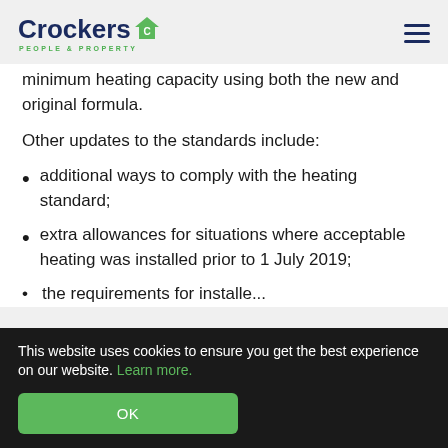Crockers PEOPLE & PROPERTY
minimum heating capacity using both the new and original formula.
Other updates to the standards include:
additional ways to comply with the heating standard;
extra allowances for situations where acceptable heating was installed prior to 1 July 2019;
[truncated line]
This website uses cookies to ensure you get the best experience on our website. Learn more.
OK